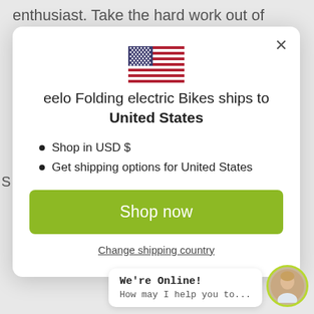enthusiast. Take the hard work out of cycling and
[Figure (screenshot): Modal dialog showing US flag, shipping info for United States, bullet points for USD and shipping options, green Shop now button, Change shipping country link, and a chat widget with agent photo]
eelo Folding electric Bikes ships to United States
Shop in USD $
Get shipping options for United States
Shop now
Change shipping country
We're Online! How may I help you to...